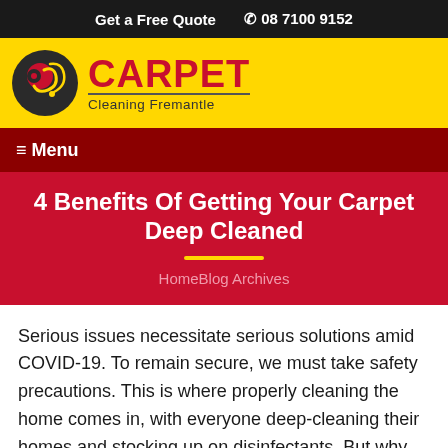Get a Free Quote  ☎ 08 7100 9152
[Figure (logo): Carpet Cleaning Fremantle logo with red and black swirl icon on yellow background]
☰ Menu
4 Benefits Of Getting Your Carpet Deep Cleaned
HomeBlog Archives
Serious issues necessitate serious solutions amid COVID-19. To remain secure, we must take safety precautions. This is where properly cleaning the home comes in, with everyone deep-cleaning their homes and stocking up on disinfectants. But why do you put so much focus on keeping your home spotless? Can't you just go about your